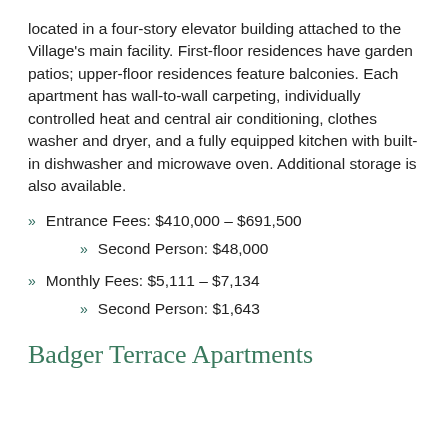located in a four-story elevator building attached to the Village's main facility. First-floor residences have garden patios; upper-floor residences feature balconies. Each apartment has wall-to-wall carpeting, individually controlled heat and central air conditioning, clothes washer and dryer, and a fully equipped kitchen with built-in dishwasher and microwave oven. Additional storage is also available.
Entrance Fees: $410,000 – $691,500
Second Person: $48,000
Monthly Fees: $5,111 – $7,134
Second Person: $1,643
Badger Terrace Apartments